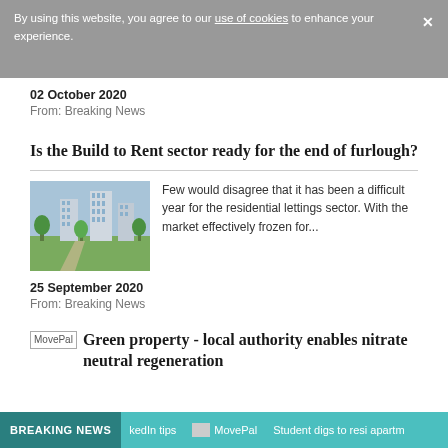By using this website, you agree to our use of cookies to enhance your experience.
02 October 2020
From: Breaking News
Is the Build to Rent sector ready for the end of furlough?
[Figure (photo): Residential apartment buildings with green trees and a pathway]
Few would disagree that it has been a difficult year for the residential lettings sector. With the market effectively frozen for...
25 September 2020
From: Breaking News
Green property - local authority enables nitrate neutral regeneration
BREAKING NEWS  kedIn tips  MovePal  Student digs to resi apartm